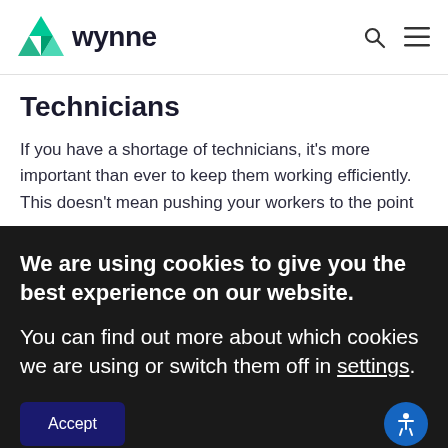[Figure (logo): Wynne logo with teal diamond/triangle geometric icon and bold 'wynne' wordmark, plus search and hamburger menu icons]
Technicians
If you have a shortage of technicians, it's more important than ever to keep them working efficiently. This doesn't mean pushing your workers to the point
We are using cookies to give you the best experience on our website.
You can find out more about which cookies we are using or switch them off in settings.
Accept